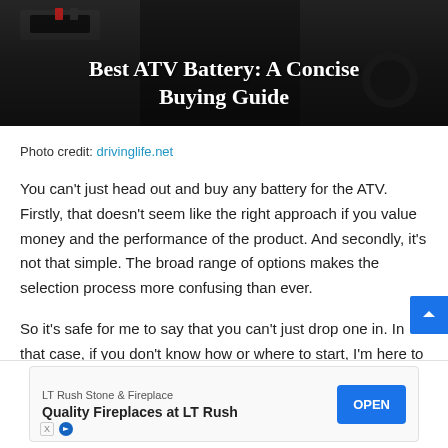[Figure (photo): Dark photo of an ATV battery/engine area, used as hero image background]
Best ATV Battery: A Concise Buying Guide
Photo credit: drivinglife.net
You can't just head out and buy any battery for the ATV. Firstly, that doesn't seem like the right approach if you value money and the performance of the product. And secondly, it's not that simple. The broad range of options makes the selection process more confusing than ever.
So it's safe for me to say that you can't just drop one in. In that case, if you don't know how or where to start, I'm here to
[Figure (other): Advertisement banner for LT Rush Stone & Fireplace - Quality Fireplaces at LT Rush, with OPEN button]